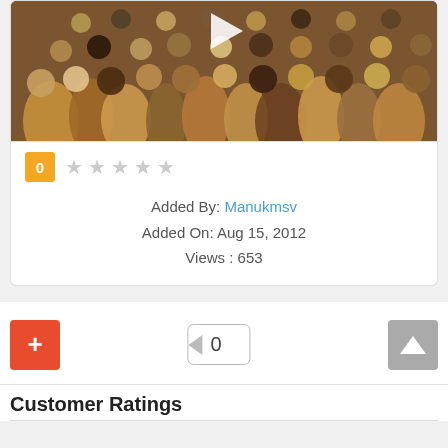[Figure (photo): Video thumbnail showing a large crowd of people at an outdoor gathering, with a play button overlay in the center top area.]
0 ★ ★ ★ ★ ★
Added By: Manukmsv
Added On: Aug 15, 2012
Views : 653
[Figure (infographic): Action buttons row: orange plus button on left, vote counter badge showing '0' in center, gray upload/upvote button on right]
Customer Ratings